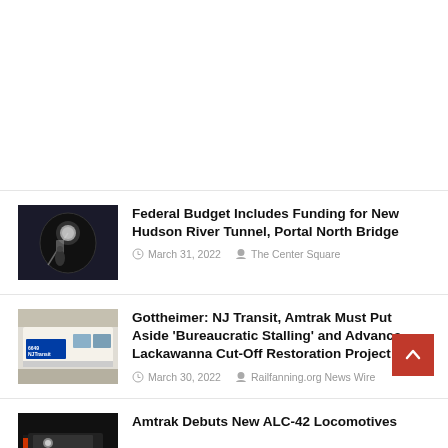[Figure (photo): Dark tunnel/construction scene with worker holding light]
Federal Budget Includes Funding for New Hudson River Tunnel, Portal North Bridge
March 31, 2022  The Center Square
[Figure (photo): NJ Transit train car side view]
Gottheimer: NJ Transit, Amtrak Must Put Aside 'Bureaucratic Stalling' and Advance Lackawanna Cut-Off Restoration Project
March 30, 2022  Railfanning.org News Wire
[Figure (photo): Amtrak locomotive in dark setting]
Amtrak Debuts New ALC-42 Locomotives